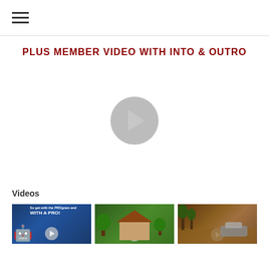Navigation menu (hamburger icon)
PLUS MEMBER VIDEO WITH INTO & OUTRO
[Figure (screenshot): Video player area with a gray circular play button in the center on a white background]
Videos
[Figure (screenshot): Three video thumbnails in a row: first shows a cartoon robot character with 'WITH A PRO!' text on dark blue background, second shows a house with trees on green background, third shows a flooded scene with a car in brown water]